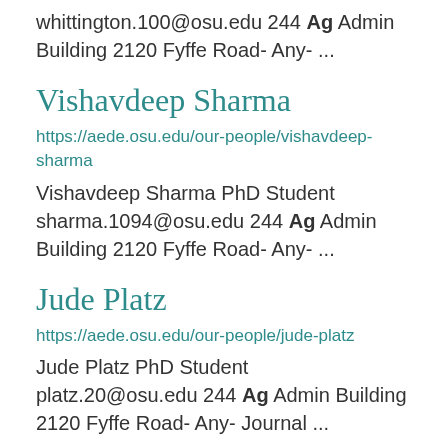whittington.100@osu.edu 244 Ag Admin Building 2120 Fyffe Road- Any- ...
Vishavdeep Sharma
https://aede.osu.edu/our-people/vishavdeep-sharma
Vishavdeep Sharma PhD Student sharma.1094@osu.edu 244 Ag Admin Building 2120 Fyffe Road- Any- ...
Jude Platz
https://aede.osu.edu/our-people/jude-platz
Jude Platz PhD Student platz.20@osu.edu 244 Ag Admin Building 2120 Fyffe Road- Any- Journal ...